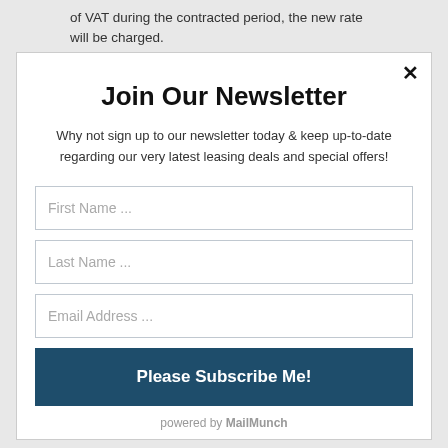of VAT during the contracted period, the new rate will be charged.
Join Our Newsletter
Why not sign up to our newsletter today & keep up-to-date regarding our very latest leasing deals and special offers!
First Name ...
Last Name ...
Email Address ...
Please Subscribe Me!
powered by MailMunch